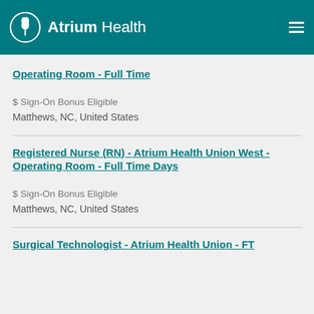Atrium Health
Operating Room - Full Time
$ Sign-On Bonus Eligible
Matthews, NC, United States
Registered Nurse (RN) - Atrium Health Union West - Operating Room - Full Time Days
$ Sign-On Bonus Eligible
Matthews, NC, United States
Surgical Technologist - Atrium Health Union - FT